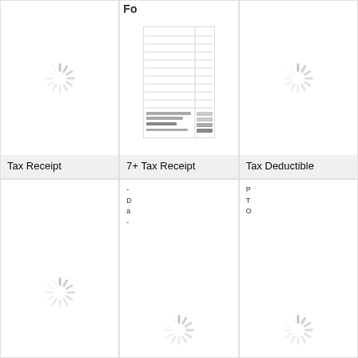[Figure (screenshot): Loading spinner icon in white card cell]
[Figure (screenshot): Partial header text 'Fo' with mini tax receipt form document preview showing lined rows and small text at bottom]
[Figure (screenshot): Loading spinner icon in white card cell]
Tax Receipt
7+ Tax Receipt
Tax Deductible
[Figure (screenshot): Loading spinner icon in bottom-left card cell]
D
a
-
T
O
[Figure (screenshot): Loading spinner icon in bottom-center card cell]
[Figure (screenshot): Loading spinner icon in bottom-right card cell]